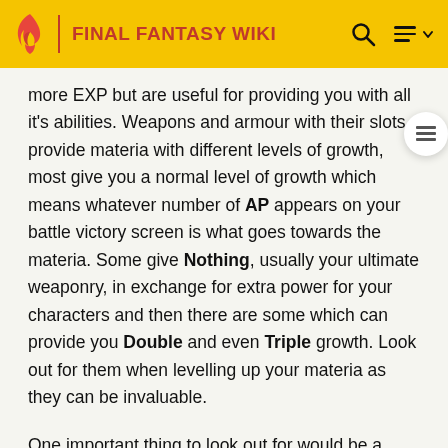FINAL FANTASY WIKI
more EXP but are useful for providing you with all it's abilities. Weapons and armour with their slots provide materia with different levels of growth, most give you a normal level of growth which means whatever number of AP appears on your battle victory screen is what goes towards the materia. Some give Nothing, usually your ultimate weaponry, in exchange for extra power for your characters and then there are some which can provide you Double and even Triple growth. Look out for them when levelling up your materia as they can be invaluable.
One important thing to look out for would be a specific yellow materia, Enemy Skill. This is the source of all Blue Magic in the game and will inevitably provide you with some of the games most useful spells so look out for